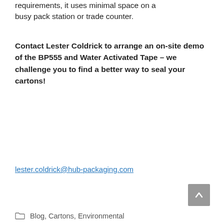requirements, it uses minimal space on a busy pack station or trade counter.
Contact Lester Coldrick to arrange an on-site demo of the BP555 and Water Activated Tape – we challenge you to find a better way to seal your cartons!
lester.coldrick@hub-packaging.com
Blog, Cartons, Environmental